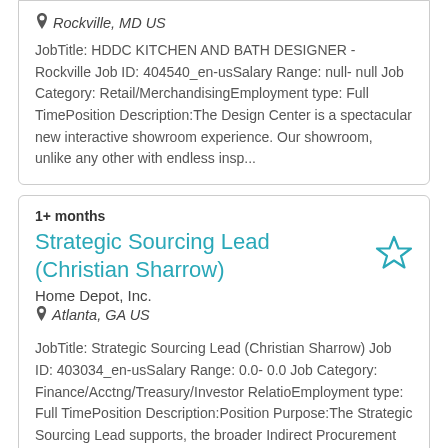Rockville, MD US
JobTitle: HDDC KITCHEN AND BATH DESIGNER - Rockville Job ID: 404540_en-usSalary Range: null- null Job Category: Retail/MerchandisingEmployment type: Full TimePosition Description:The Design Center is a spectacular new interactive showroom experience. Our showroom, unlike any other with endless insp...
1+ months
Strategic Sourcing Lead (Christian Sharrow)
Home Depot, Inc.
Atlanta, GA US
JobTitle: Strategic Sourcing Lead (Christian Sharrow) Job ID: 403034_en-usSalary Range: 0.0- 0.0 Job Category: Finance/Acctng/Treasury/Investor RelatioEmployment type: Full TimePosition Description:Position Purpose:The Strategic Sourcing Lead supports, the broader Indirect Procurement team&rsquo...